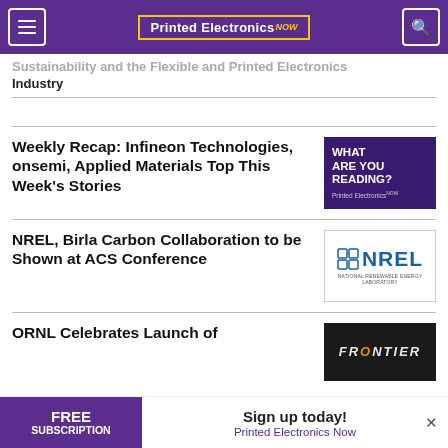Printed Electronics NOW
Sustainability and the Flexible and Printed Electronics Industry
Weekly Recap: Infineon Technologies, onsemi, Applied Materials Top This Week's Stories
[Figure (infographic): Purple banner reading WHAT ARE YOU READING? Printed Electronics NOW]
NREL, Birla Carbon Collaboration to be Shown at ACS Conference
[Figure (logo): NREL National Renewable Energy Laboratory logo in blue]
ORNL Celebrates Launch of
[Figure (photo): Dark photo with Frontier text]
FREE SUBSCRIPTION  Sign up today! Printed Electronics Now